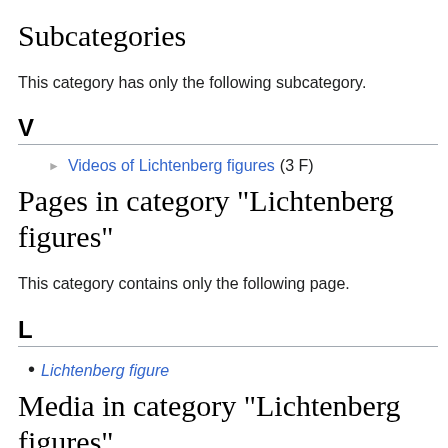Subcategories
This category has only the following subcategory.
V
▶ Videos of Lichtenberg figures (3 F)
Pages in category "Lichtenberg figures"
This category contains only the following page.
L
Lichtenberg figure
Media in category "Lichtenberg figures"
The following 18 files are in this category, out of 18 total.